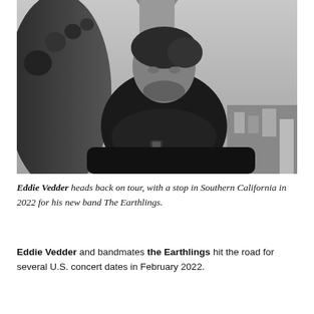[Figure (photo): Black and white photograph of Eddie Vedder sitting outdoors, leaning forward with arms crossed on his knees, wearing a dark short-sleeve shirt and a watch. Background shows architectural elements and an urban skyline.]
Eddie Vedder heads back on tour, with a stop in Southern California in 2022 for his new band The Earthlings.
Eddie Vedder and bandmates the Earthlings hit the road for several U.S. concert dates in February 2022.